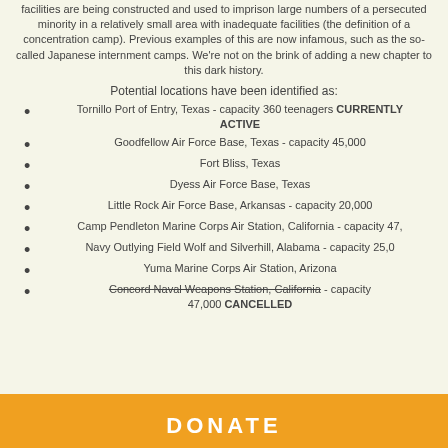facilities are being constructed and used to imprison large numbers of a persecuted minority in a relatively small area with inadequate facilities (the definition of a concentration camp). Previous examples of this are now infamous, such as the so-called Japanese internment camps. We're now on the brink of adding a new chapter to this dark history.
Potential locations have been identified as:
Tornillo Port of Entry, Texas - capacity 360 teenagers CURRENTLY ACTIVE
Goodfellow Air Force Base, Texas - capacity 45,000
Fort Bliss, Texas
Dyess Air Force Base, Texas
Little Rock Air Force Base, Arkansas - capacity 20,000
Camp Pendleton Marine Corps Air Station, California - capacity 47,000
Navy Outlying Field Wolf and Silverhill, Alabama - capacity 25,000
Yuma Marine Corps Air Station, Arizona
Concord Naval Weapons Station, California - capacity 47,000 CANCELLED
DONATE